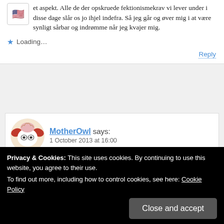et aspekt. Alle de der opskruede fektionismekrav vi lever under i disse dage slår os jo ihjel indefra. Så jeg går og øver mig i at være synligt sårbar og indrømme når jeg kvajer mig.
Loading...
Reply
MotherOwl says:
1 October 2013 at 16:00
Privacy & Cookies: This site uses cookies. By continuing to use this website, you agree to their use. To find out more, including how to control cookies, see here: Cookie Policy
Close and accept